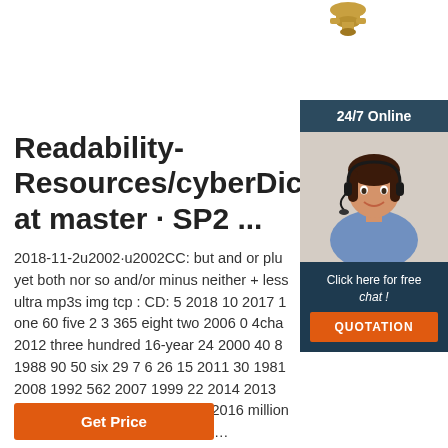[Figure (photo): Brass pipe fitting product photo, partially visible at top right]
[Figure (photo): 24/7 Online sidebar with customer service representative wearing headset and orange QUOTATION button]
Readability-Resources/cyberDictiona at master · SP2 ...
2018-11-2u2002·u2002CC: but and or plus yet both nor so and/or minus neither + less ultra mp3s img tcp : CD: 5 2018 10 2017 1 one 60 five 2 3 365 eight two 2006 0 4cha 2012 three hundred 16-year 24 2000 40 8 1988 90 50 six 29 7 6 26 15 2011 30 1981 2008 1992 562 2007 1999 22 2014 2013 1977 27 1982 17 195 34 1967 2016 million 28 25 1000 9 16 seven 522 21 …
Get Price